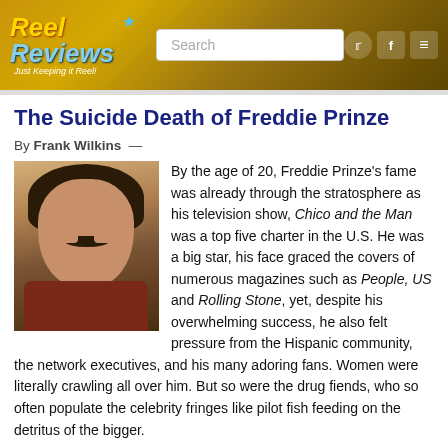Reel Reviews — Just Keeping it Reel!
The Suicide Death of Freddie Prinze
By Frank Wilkins —
[Figure (photo): Photo of Freddie Prinze, a young man with dark hair and a mustache, wearing a brownish-red shirt.]
By the age of 20, Freddie Prinze's fame was already through the stratosphere as his television show, Chico and the Man was a top five charter in the U.S. He was a big star, his face graced the covers of numerous magazines such as People, US and Rolling Stone, yet, despite his overwhelming success, he also felt pressure from the Hispanic community, the network executives, and his many adoring fans. Women were literally crawling all over him. But so were the drug fiends, who so often populate the celebrity fringes like pilot fish feeding on the detritus of the bigger.
Settling down
Freddie Prinze would soon find himself addicted to both women